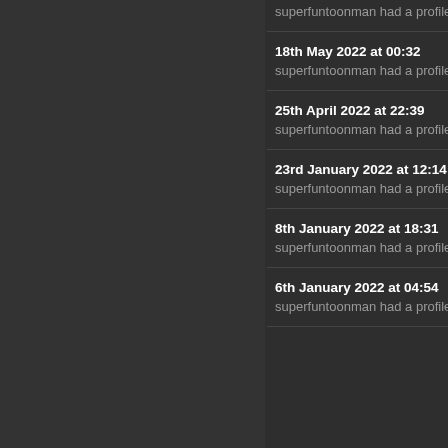superfuntoonman had a profile visit
18th May 2022 at 00:32
superfuntoonman had a profile visit
25th April 2022 at 22:39
superfuntoonman had a profile visit
23rd January 2022 at 12:14
superfuntoonman had a profile visit
8th January 2022 at 18:31
superfuntoonman had a profile visit
6th January 2022 at 04:54
superfuntoonman had a profile visit